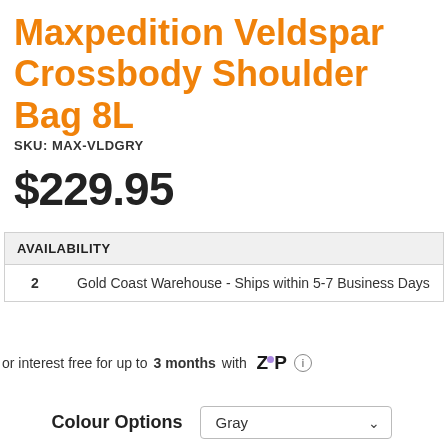Maxpedition Veldspar Crossbody Shoulder Bag 8L
SKU: MAX-VLDGRY
$229.95
| AVAILABILITY |  |
| --- | --- |
| 2 | Gold Coast Warehouse - Ships within 5-7 Business Days |
or interest free for up to 3 months with Zip
Colour Options  Gray